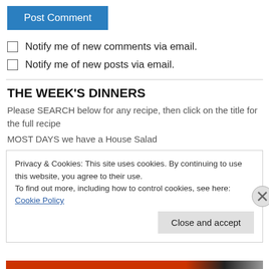Post Comment
Notify me of new comments via email.
Notify me of new posts via email.
THE WEEK'S DINNERS
Please SEARCH below for any recipe, then click on the title for the full recipe
MOST DAYS we have a House Salad
Privacy & Cookies: This site uses cookies. By continuing to use this website, you agree to their use.
To find out more, including how to control cookies, see here: Cookie Policy
Close and accept